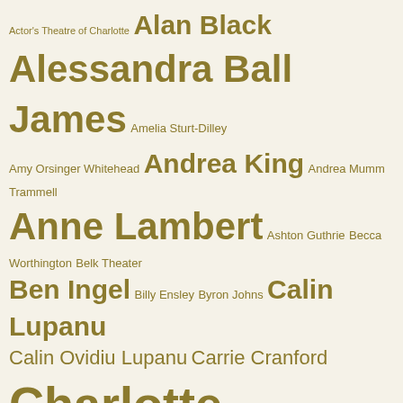[Figure (infographic): Word cloud of names and organizations in gold/olive color on cream background. Names appear in varying font sizes indicating relative prominence or donation level. Names include: Actor's Theatre of Charlotte, Alan Black, Alessandra Ball James, Amelia Sturt-Dilley, Amy Orsinger Whitehead, Andrea King, Andrea Mumm Trammell, Anne Lambert, Ashton Guthrie, Becca Worthington, Belk Theater, Ben Ingel, Billy Ensley, Byron Johns, Calin Lupanu, Calin Ovidiu Lupanu, Carrie Cranford, Charlotte Symphony, Chelsea Dumas, Chelsea Retalic, Chester Shepherd, Chip Decker, Chris Timmons, Christopher James Lees, Christopher Warren-Green, Colby Foss, Corey Mitchell, Corlis Hayes, Dennis Delamar, Drew Grant, Erinn Frechette, Evan Kinsley, Hallie Gray, Halton Theater, Hollis Ulaky, Hope Muir, James Cartee, James Duke, James Kopecky, James Meena, Jean-Pierre Bonnefoux, Jennifer O'Kelly]